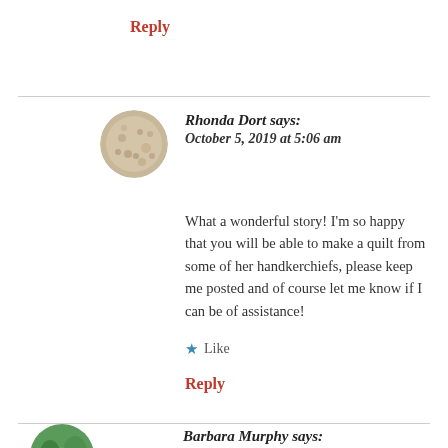Reply
Rhonda Dort says:
October 5, 2019 at 5:06 am
What a wonderful story! I'm so happy that you will be able to make a quilt from some of her handkerchiefs, please keep me posted and of course let me know if I can be of assistance!
★ Like
Reply
Barbara Murphy says: